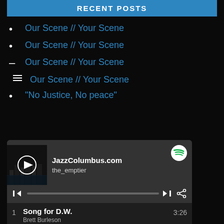RECENT POSTS
Our Scene // Your Scene
Our Scene // Your Scene
Our Scene // Your Scene
Our Scene // Your Scene
“No Justice, No peace”
[Figure (screenshot): Spotify embedded playlist widget for JazzColumbus.com by the_emptier, showing album art with play button, playback controls, and a track list with: 1 Song for D.W. / Brett Burleson 3:26, 2 Song for Kidd / Brett Burleson 4:07, 3 Cars Trucks Buses / Tony Monaco, Derek DiCenz 6:29]